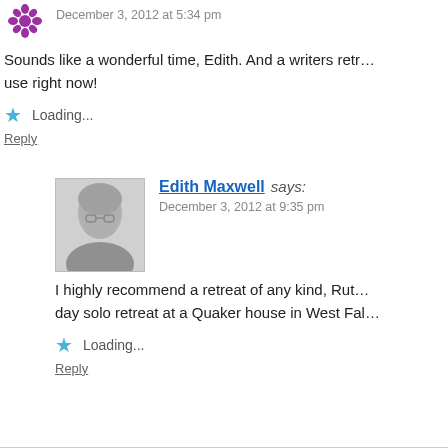December 3, 2012 at 5:34 pm
Sounds like a wonderful time, Edith. And a writers retreat I could use right now!
Loading...
Reply
Edith Maxwell says:
December 3, 2012 at 9:35 pm
I highly recommend a retreat of any kind, Ruth. day solo retreat at a Quaker house in West Fal
Loading...
Reply